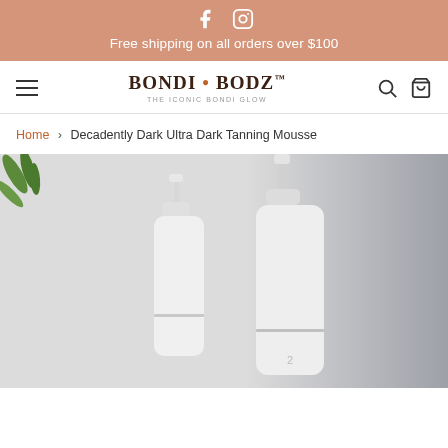Free shipping on all orders over $100
[Figure (logo): BONDI BODZ logo with tagline THE ICONIC BONDI GLOW]
Home › Decadently Dark Ultra Dark Tanning Mousse
[Figure (photo): Two white foam pump bottles of Bondi Bodz tanning mousse, on a light grey background with green plant leaves in top-left corner]